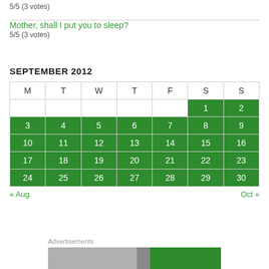5/5 (3 votes)
Mother, shall I put you to sleep?
5/5 (3 votes)
SEPTEMBER 2012
| M | T | W | T | F | S | S |
| --- | --- | --- | --- | --- | --- | --- |
|  |  |  |  |  | 1 | 2 |
| 3 | 4 | 5 | 6 | 7 | 8 | 9 |
| 10 | 11 | 12 | 13 | 14 | 15 | 16 |
| 17 | 18 | 19 | 20 | 21 | 22 | 23 |
| 24 | 25 | 26 | 27 | 28 | 29 | 30 |
« Aug
Oct »
Advertisements